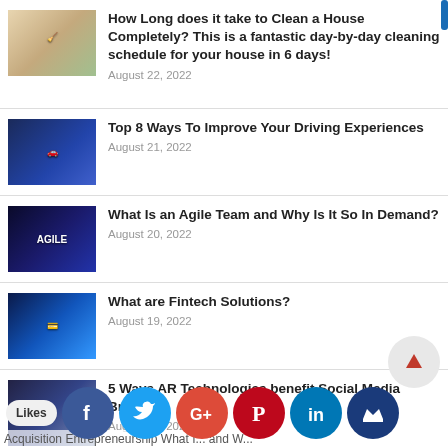How Long does it take to Clean a House Completely? This is a fantastic day-by-day cleaning schedule for your house in 6 days! — August 22, 2022
Top 8 Ways To Improve Your Driving Experiences — August 21, 2022
What Is an Agile Team and Why Is It So In Demand? — August 20, 2022
What are Fintech Solutions? — August 19, 2022
5 Ways AR Technologies benefit Social Media Brands — August 18, 2022
Acquisition Entrepreneurship What ... and W...